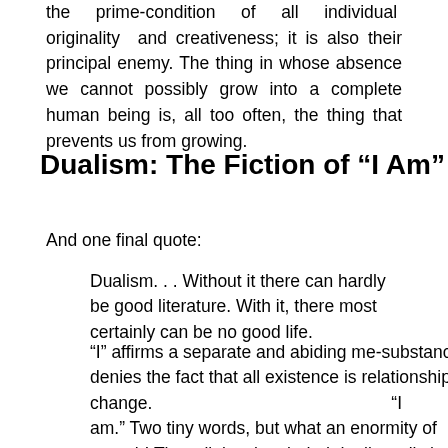the prime-condition of all individual originality and creativeness; it is also their principal enemy. The thing in whose absence we cannot possibly grow into a complete human being is, all too often, the thing that prevents us from growing.
Dualism: The Fiction of “I Am”
And one final quote:
Dualism. . . Without it there can hardly be good literature. With it, there most certainly can be no good life.
“I” affirms a separate and abiding me-substance; “am” denies the fact that all existence is relationship and change. “I am.” Two tiny words, but what an enormity of untruth! The religiously-minded dualist calls homemade